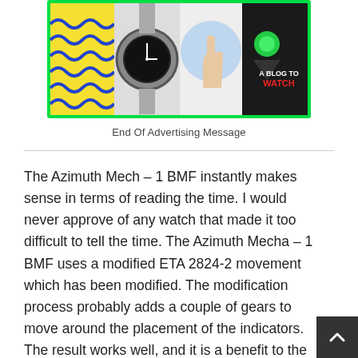[Figure (photo): Collage banner advertisement for 'A Blog To Watch' showing watch-related imagery: colorful wavy pattern, a wristwatch, a hand pointing at a watch face, and a dark background with a green button and red 'A BLOG TO WATCH' text. Bordered in bright green.]
End Of Advertising Message
The Azimuth Mech – 1 BMF instantly makes sense in terms of reading the time. I would never approve of any watch that made it too difficult to tell the time. The Azimuth Mecha – 1 BMF uses a modified ETA 2824-2 movement which has been modified. The modification process probably adds a couple of gears to move around the placement of the indicators. The result works well, and it is a benefit to the watch that it is powered by such a workhorss. The rest of the watch is top quality. The larg